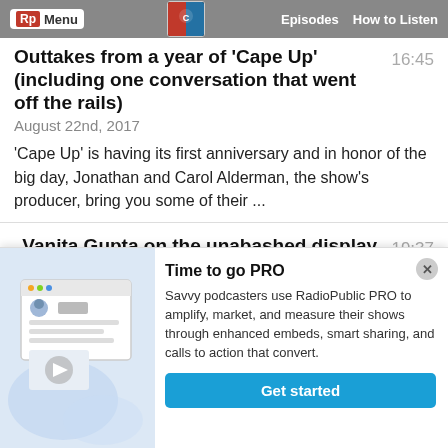Rp Menu | Episodes | How to Listen
Outtakes from a year of 'Cape Up' (including one conversation that went off the rails) 16:45
August 22nd, 2017
'Cape Up' is having its first anniversary and in honor of the big day, Jonathan and Carol Alderman, the show's producer, bring you some of their ...
Vanita Gupta on the unabashed display of white supremacy in Charlottesville 19:37
August 15th, 2017
Given the events of Charlottesville, you need to hear from
Time to go PRO
Savvy podcasters use RadioPublic PRO to amplify, market, and measure their shows through enhanced embeds, smart sharing, and calls to action that convert.
Get started